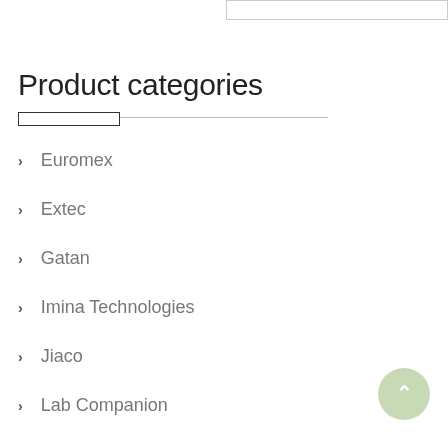[Figure (other): Search bar input field at top right]
Product categories
Euromex
Extec
Gatan
Imina Technologies
Jiaco
Lab Companion